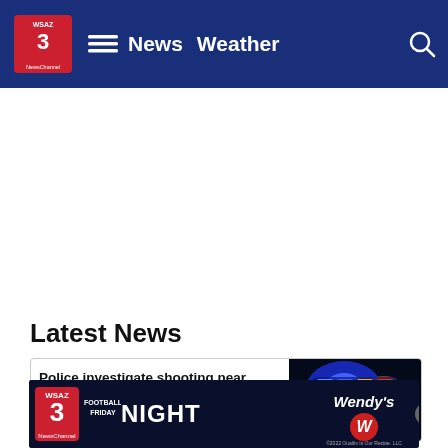WSAZ 3 NewsChannel — News  Weather
[Figure (other): Large white blank/advertisement area below navigation bar]
Latest News
Police investigate shooting near Lexington Legends stadium, 7 injured
[Figure (photo): Police emergency lights (blue and red) on a vehicle at night]
[Figure (other): WSAZ 3 Football Friday Night sponsored by Wendy's advertisement banner]